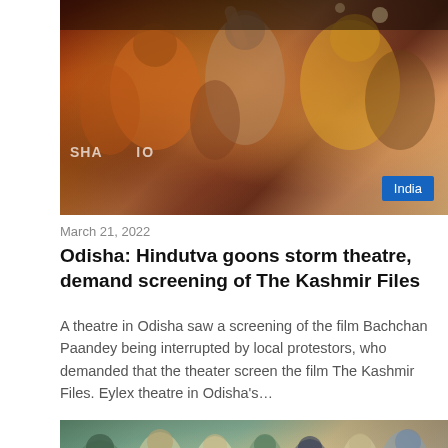[Figure (photo): People in a theatre scene, crowd with raised arms, orange and yellow clothing visible, partial text SHA and some overlay text, India badge in bottom right corner]
March 21, 2022
Odisha: Hindutva goons storm theatre, demand screening of The Kashmir Files
A theatre in Odisha saw a screening of the film Bachchan Paandey being interrupted by local protestors, who demanded that the theater screen the film The Kashmir Files. Eylex theatre in Odisha's...
[Figure (photo): Crowd of people outdoors, people in white and dark clothing, appears to be a protest or gathering scene]